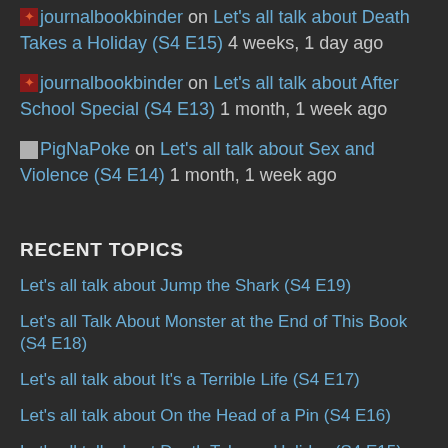journalbookbinder on Let's all talk about Death Takes a Holiday (S4 E15) 4 weeks, 1 day ago
journalbookbinder on Let's all talk about After School Special (S4 E13) 1 month, 1 week ago
PigNaPoke on Let's all talk about Sex and Violence (S4 E14) 1 month, 1 week ago
RECENT TOPICS
Let's all talk about Jump the Shark (S4 E19)
Let's all Talk About Monster at the End of This Book (S4 E18)
Let's all talk about It's a Terrible Life (S4 E17)
Let's all talk about On the Head of a Pin (S4 E16)
Let's all talk about Death Takes a Holiday (S4 E15)
Let's all talk about Sex and Violence (S4 E14)